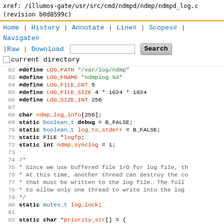xref: /illumos-gate/usr/src/cmd/ndmpd/ndmp/ndmpd_log.c
(revision b0d8599c)
Home | History | Annotate | Line# | Scopes# | Navigate#
|Raw | Download  [search box] [Search]  [checkbox] current directory
62  #define LOG_PATH    "/var/log/ndmp"
63  #define LOG_FNAME   "ndmplog.%d"
64  #define LOG_FILE_CNT  5
65  #define LOG_FILE_SIZE  4 * 1024 * 1024
66  #define LOG_SIZE_INT  256
67
68  char ndmp_log_info[256];
69  static boolean_t debug = B_FALSE;
70  static boolean_t log_to_stderr = B_FALSE;
71  static FILE *logfp;
72  static int ndmp_synclog = 1;
73
74  /*
75   * Since we use buffered file I/O for log file, th
76   * At this time, another thread can destroy the co
77   * that must be written to the log file.  The foll
78   * to allow only one thread to write into the log
79   */
80  static mutex_t log_lock;
81
82  static char *priority_str[] = {
83          "EMERGENCY",
84          "ALERT",
85          "CRITICAL",